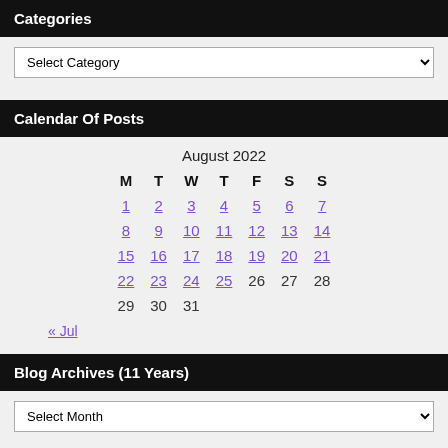Categories
Select Category
Calendar Of Posts
| M | T | W | T | F | S | S |
| --- | --- | --- | --- | --- | --- | --- |
| 1 | 2 | 3 | 4 | 5 | 6 | 7 |
| 8 | 9 | 10 | 11 | 12 | 13 | 14 |
| 15 | 16 | 17 | 18 | 19 | 20 | 21 |
| 22 | 23 | 24 | 25 | 26 | 27 | 28 |
| 29 | 30 | 31 |  |  |  |  |
« Jul
Blog Archives (11 Years)
Select Month